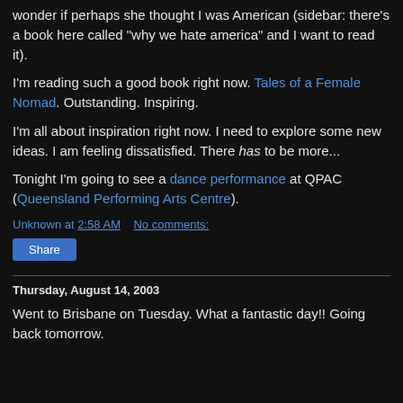wonder if perhaps she thought I was American (sidebar: there's a book here called "why we hate america" and I want to read it).
I'm reading such a good book right now. Tales of a Female Nomad. Outstanding. Inspiring.
I'm all about inspiration right now. I need to explore some new ideas. I am feeling dissatisfied. There has to be more...
Tonight I'm going to see a dance performance at QPAC (Queensland Performing Arts Centre).
Unknown at 2:58 AM   No comments:
Share
Thursday, August 14, 2003
Went to Brisbane on Tuesday. What a fantastic day!! Going back tomorrow.